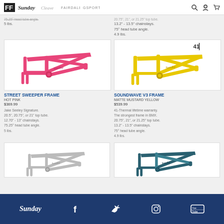FF Sunday Cidera Fairdale Gsport [nav icons]
75.25° head tube angle.
5 lbs.
20.75", 21", or 21.25" top tube.
13.2" - 13.5" chainstays.
75° head tube angle.
4.9 lbs.
[Figure (photo): Hot pink BMX Street Sweeper frame on white background]
STREET SWEEPER FRAME
HOT PINK
$369.99
Jake Seeley Signature.
20.5", 20.75", or 21" top tube.
12.70" - 13" chainstays.
75.25° head tube angle.
5 lbs.
[Figure (photo): Matte mustard yellow BMX Soundwave V3 frame on white background with 41 badge]
SOUNDWAVE V3 FRAME
MATTE MUSTARD YELLOW
$539.99
41-Thermal lifetime warranty.
The strongest frame in BMX.
20.75", 21", or 21.25" top tube.
13.2" - 13.5" chainstays.
75° head tube angle.
4.9 lbs.
[Figure (photo): Silver/chrome BMX frame on white background]
[Figure (photo): Dark teal BMX frame on white background]
Sunday [logo] | Facebook | Twitter | Instagram | YouTube